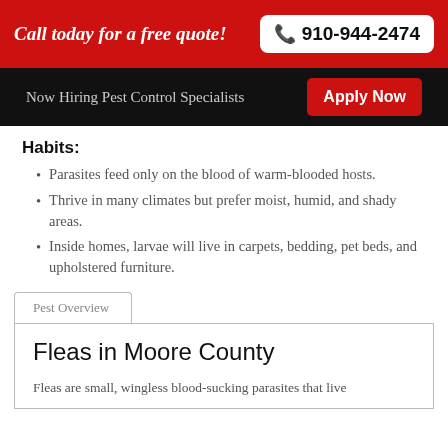Call today for a free quote! 910-944-2474
Now Hiring Pest Control Specialists Apply Now
Habits:
Parasites feed only on the blood of warm-blooded hosts.
Thrive in many climates but prefer moist, humid, and shady areas.
Inside homes, larvae will live in carpets, bedding, pet beds, and upholstered furniture.
Pest Overview
Fleas in Moore County
Fleas are small, wingless blood-sucking parasites that live